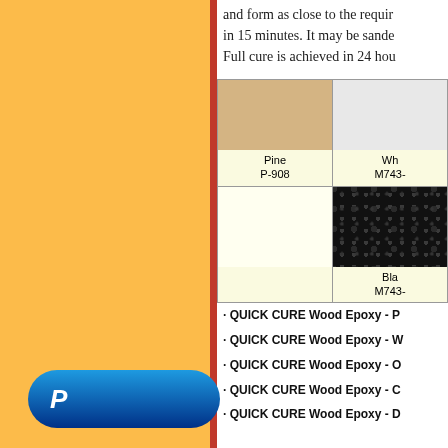and form as close to the required shape and form as close to the required shape in 15 minutes. It may be sanded, drilled. Full cure is achieved in 24 hou...
| Pine P-908 | Wh... M743-... |
| --- | --- |
| [Pine color swatch] | [White/light gray swatch] |
| [Cream/blank] | Bla... M743-... |
· QUICK CURE Wood Epoxy - P
· QUICK CURE Wood Epoxy - W
· QUICK CURE Wood Epoxy - O
· QUICK CURE Wood Epoxy - C
· QUICK CURE Wood Epoxy - D
[Figure (logo): PayPal payment button - blue pill-shaped button with white PayPal P logo]